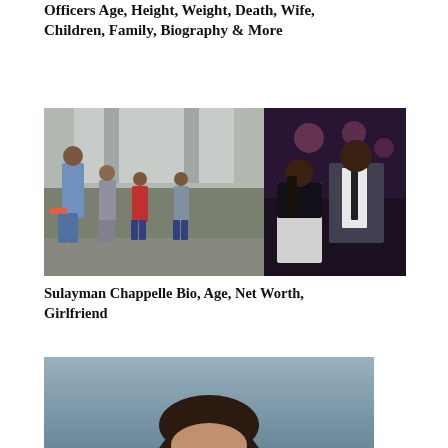Officers Age, Height, Weight, Death, Wife, Children, Family, Biography & More
[Figure (photo): Two side-by-side photos: left shows a man walking with children on a city street; right shows a couple at a formal event, man in suit and tie, woman in white top.]
Sulayman Chappelle Bio, Age, Net Worth, Girlfriend
[Figure (photo): Partial photo showing top of a person's head with dark hair against a blue-grey background.]